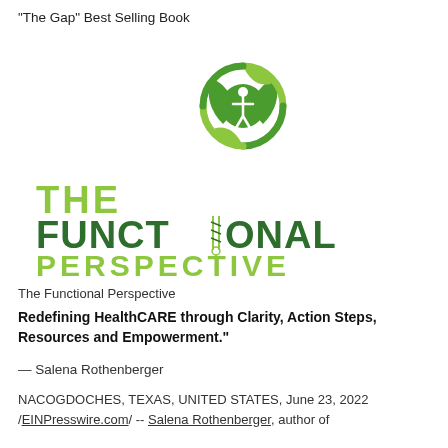"The Gap" Best Selling Book
[Figure (logo): The Functional Perspective logo — green leaf/circle emblem above bold green and dark green text reading THE FUNCTIONAL PERSPECTIVE with a DNA helix replacing the letter I]
The Functional Perspective
Redefining HealthCARE through Clarity, Action Steps, Resources and Empowerment."
— Salena Rothenberger
NACOGDOCHES, TEXAS, UNITED STATES, June 23, 2022 /EINPresswire.com/ -- Salena Rothenberger, author of